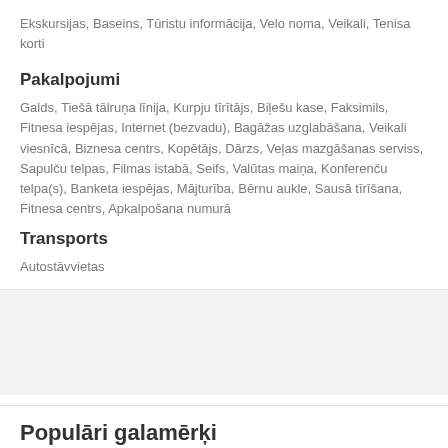Ekskursijas, Baseins, Tūristu informācija, Velo noma, Veikali, Tenisa korti
Pakalpojumi
Galds, Tiešā tālruņa līnija, Kurpju tīrītājs, Biļešu kase, Faksimils, Fitnesa iespējas, Internet (bezvadu), Bagāžas uzglabāšana, Veikali viesnīcā, Biznesa centrs, Kopētājs, Dārzs, Veļas mazgāšanas serviss, Sapulču telpas, Filmas istabā, Seifs, Valūtas maiņa, Konferenču telpa(s), Banketa iespējas, Mājturība, Bērnu aukle, Sausā tīrīšana, Fitnesa centrs, Apkalpošana numurā
Transports
Autostāvvietas
Populāri galamērķi